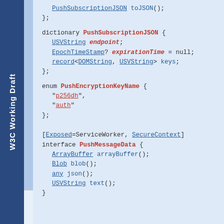[Figure (other): W3C Working Draft sidebar label in blue vertical bar]
PushSubscriptionJSON toJSON();
};

dictionary PushSubscriptionJSON {
    USVString endpoint;
    EpochTimeStamp? expirationTime = null;
    record<DOMString, USVString> keys;
};

enum PushEncryptionKeyName {
    "p256dh",
    "auth"
};

[Exposed=ServiceWorker, SecureContext]
interface PushMessageData {
    ArrayBuffer arrayBuffer();
    Blob blob();
    any json();
    USVString text();
};